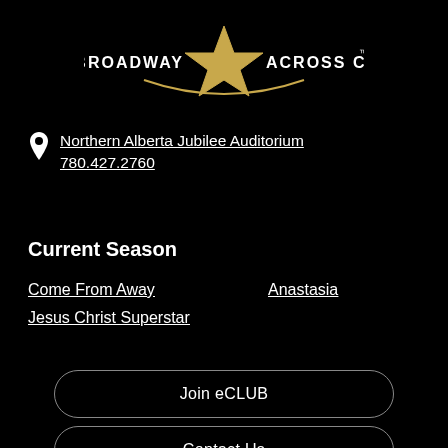[Figure (logo): Broadway Across Canada logo with gold star]
Northern Alberta Jubilee Auditorium
780.427.2760
Current Season
Come From Away
Anastasia
Jesus Christ Superstar
Join eCLUB
Contact Us
Jobs